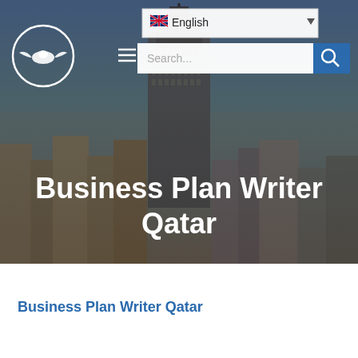[Figure (screenshot): Website screenshot showing a hero banner with a city skyline background (featuring a tall skyscraper), a circular bird logo in the top left, a language selector (English with UK flag), a hamburger menu icon and search bar, and the title 'Business Plan Writer Qatar' centered over the image.]
Business Plan Writer Qatar
Business Plan Writer Qatar